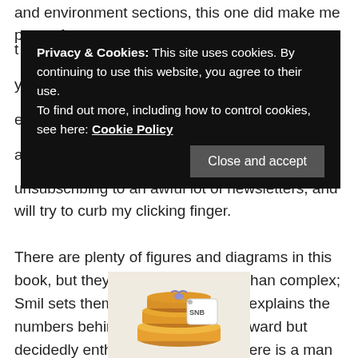and environment sections, this one did make me pause for t
[Figure (screenshot): Cookie consent banner with black background. Text reads: 'Privacy & Cookies: This site uses cookies. By continuing to use this website, you agree to their use. To find out more, including how to control cookies, see here: Cookie Policy'. Button: 'Close and accept']
y e a unsubscribing to an awful lot of newsletters, and will try to curb my clicking finger.
There are plenty of figures and diagrams in this book, but they're illustrative rather than complex; Smil sets them all into context and explains the numbers behind them in straightforward but decidedly enthusiastic language. Here is a man who really does love his numbers.
[Figure (logo): SNB book logo - stacked books with a price tag showing 'SNB']